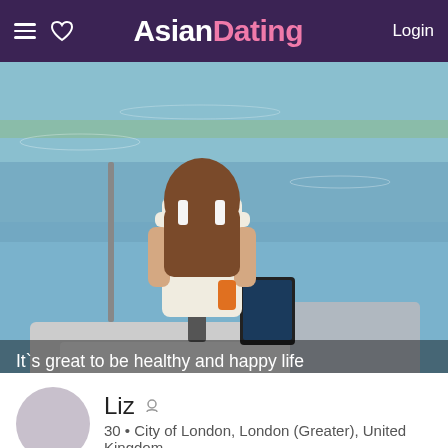≡ ♡ AsianDating Login
[Figure (photo): Woman in white tank top steering a boat on the water, viewed from behind/side angle. Boat dashboard and seating visible.]
It`s great to be healthy and happy life to the fullest... with youuuuuuuuuuu! Life is a magical journey and it would nice...
Liz 🚻
30 • City of London, London (Greater), United Kingdom
[Figure (photo): Partial bottom photo showing indoor setting with plants and wooden furniture.]